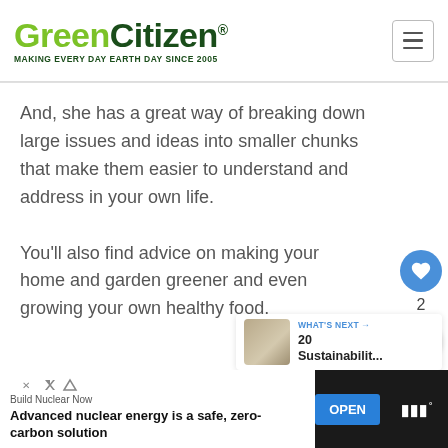GreenCitizen® MAKING EVERY DAY EARTH DAY SINCE 2005
And, she has a great way of breaking down large issues and ideas into smaller chunks that make them easier to understand and address in your own life.
You'll also find advice on making your home and garden greener and even growing your own healthy food.
[Figure (other): Heart/like button (blue circle with heart icon) with count of 2 below, and a share button (white circle with share icon)]
[Figure (other): What's Next widget showing a thumbnail image and text '20 Sustainabilit...' with blue label 'WHAT'S NEXT →']
[Figure (other): Advertisement bar at bottom: 'Build Nuclear Now' with text 'Advanced nuclear energy is a safe, zero-carbon solution', blue OPEN button, and dark sidebar with logo]